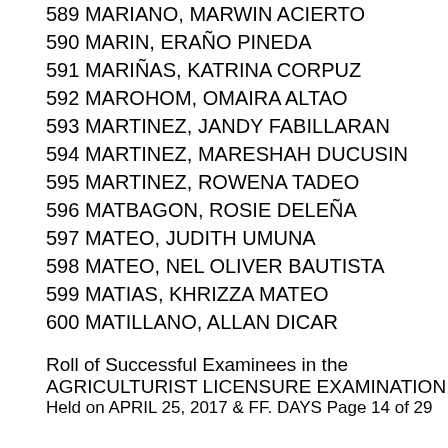589 MARIANO, MARWIN ACIERTO
590 MARIN, ERAÑO PINEDA
591 MARIÑAS, KATRINA CORPUZ
592 MAROHOM, OMAIRA ALTAO
593 MARTINEZ, JANDY FABILLARAN
594 MARTINEZ, MARESHAH DUCUSIN
595 MARTINEZ, ROWENA TADEO
596 MATBAGON, ROSIE DELEÑA
597 MATEO, JUDITH UMUNA
598 MATEO, NEL OLIVER BAUTISTA
599 MATIAS, KHRIZZA MATEO
600 MATILLANO, ALLAN DICAR
Roll of Successful Examinees in the
AGRICULTURIST LICENSURE EXAMINATION
Held on APRIL 25, 2017 & FF. DAYS Page 14 of 29